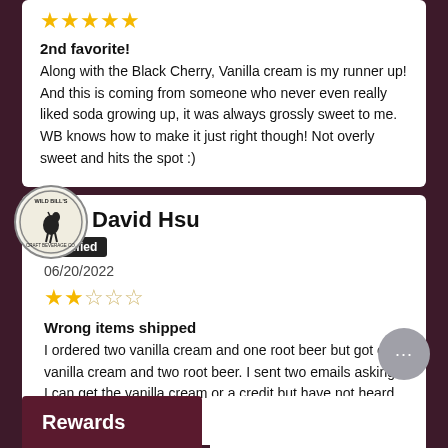[Figure (logo): Wild Bills Craft Beverages circular logo]
★★★★★ (5 stars)
2nd favorite! Along with the Black Cherry, Vanilla cream is my runner up! And this is coming from someone who never even really liked soda growing up, it was always grossly sweet to me. WB knows how to make it just right though! Not overly sweet and hits the spot :)
David Hsu
Verified
06/20/2022
★★☆☆☆ (2 stars)
Wrong items shipped I ordered two vanilla cream and one root beer but got one vanilla cream and two root beer. I sent two emails asking if I can get the vanilla cream or a credit but have not heard anything.
Rewards